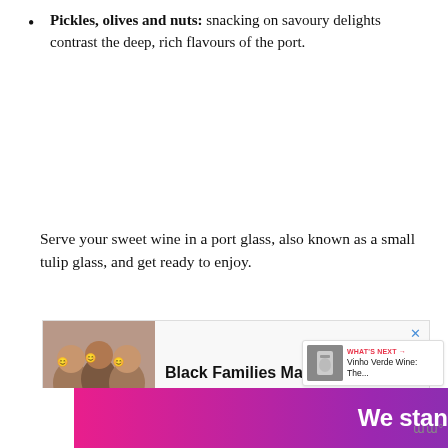Pickles, olives and nuts: snacking on savoury delights contrast the deep, rich flavours of the port.
Serve your sweet wine in a port glass, also known as a small tulip glass, and get ready to enjoy.
[Figure (infographic): Advertisement banner showing a group photo of smiling people with text 'Black Families Matter']
[Figure (infographic): Bottom advertisement banner with gradient background reading 'We stand with you.' with a close button and logo]